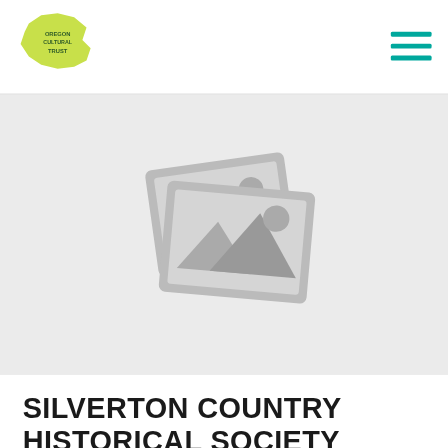[Figure (logo): Oregon Cultural Trust logo — green/yellow Oregon shape with 'OREGON CULTURAL TRUST' text]
[Figure (illustration): Hamburger/menu icon with three teal horizontal bars]
[Figure (photo): Placeholder image icon showing two overlapping photo frames with mountain/landscape silhouette and sun graphic in gray]
SILVERTON COUNTRY HISTORICAL SOCIETY
Silverton Country Historical Society was established in 1974 and the museum was opened to the public